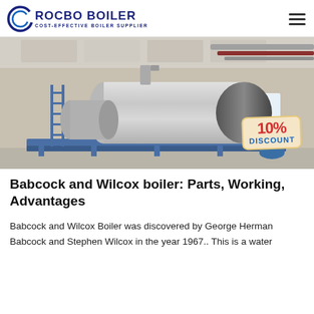ROCBO BOILER — COST-EFFECTIVE BOILER SUPPLIER
[Figure (photo): Industrial boiler in a factory setting — large horizontal cylindrical stainless steel boiler tank with dark end caps, mounted on a blue steel frame, with pipes and ladders visible, inside a concrete building. A '10% DISCOUNT' badge overlaid in lower right corner.]
Babcock and Wilcox boiler: Parts, Working, Advantages
Babcock and Wilcox Boiler was discovered by George Herman Babcock and Stephen Wilcox in the year 1967.. This is a water